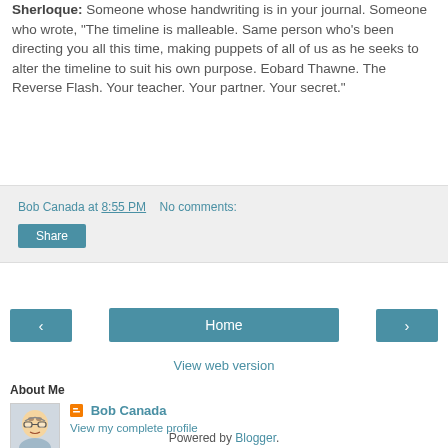Sheroque: Someone whose handwriting is in your journal. Someone who wrote, "The timeline is malleable. Same person who's been directing you all this time, making puppets of all of us as he seeks to alter the timeline to suit his own purpose. Eobard Thawne. The Reverse Flash. Your teacher. Your partner. Your secret."
Bob Canada at 8:55 PM   No comments:
Share
‹
Home
›
View web version
About Me
[Figure (illustration): Avatar illustration of a cartoon character with glasses]
Bob Canada
View my complete profile
Powered by Blogger.